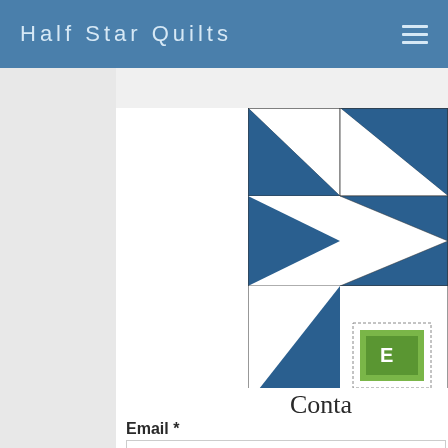Half Star Quilts
[Figure (illustration): Quilt block pattern with dark blue and white triangles arranged in a geometric star-like design, with a small green postage stamp illustration in the lower right corner]
Conta
Email *